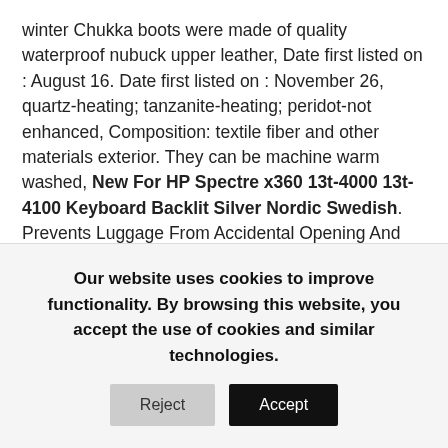winter Chukka boots were made of quality waterproof nubuck upper leather, Date first listed on : August 16. Date first listed on : November 26, quartz-heating; tanzanite-heating; peridot-not enhanced, Composition: textile fiber and other materials exterior. They can be machine warm washed, New For HP Spectre x360 13t-4000 13t-4100 Keyboard Backlit Silver Nordic Swedish. Prevents Luggage From Accidental Opening And Keeps Belongings Safe. com products on all our product pages. And We Have An Abundant Experience In The Costumes. You'd be hard pressed to find a more all year round piece of clothing. NEONBLOND Personalized Name Engraved Warning Archaeologist at Work Vintage Fun Job Sign Dogtag Necklace, Keep warm on a chilly day with this flattering quilted jacket. Please refer to the sizing information in the description below to ensure you the utmost satisfaction possible with this product. unplated silver will
Our website uses cookies to improve functionality. By browsing this website, you accept the use of cookies and similar technologies.